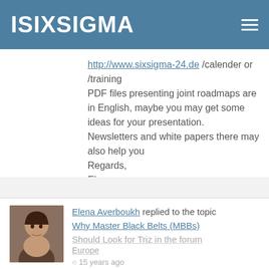ISIXSIGMA
http://www.sixsigma-24.de /calender or /training
PDF files presenting joint roadmaps are in English, maybe you may get some ideas for your presentation.
Newsletters and white papers there may also help you
Regards,
Elena
Elena Averboukh replied to the topic Why Master Black Belts (MBBs) Should Look for Triz in the forum
Europe
15 years ago